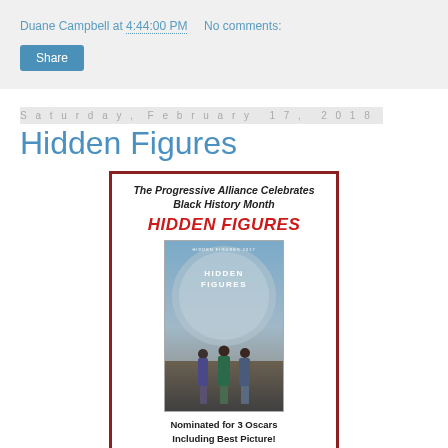Duane Campbell at 4:44:00 PM   No comments:
Share
Saturday, February 17, 2018
Hidden Figures
[Figure (illustration): Event flyer for the Progressive Alliance Black History Month screening of 'Hidden Figures', featuring the movie poster showing three women walking, with text: 'The Progressive Alliance Celebrates Black History Month', 'HIDDEN FIGURES', 'Nominated for 3 Oscars Including Best Picture!', and a partial quote beginning 'Uplifting in every way. One of the']